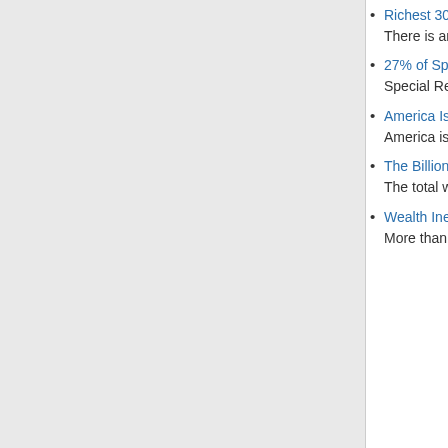Richest 300 Persons on Earth Have Mo…
There is an increasing wealth gap of imm… more and more concentrated in the han… economic distribution within the US is re…
27% of Spaniards are out of work. Yet in…
Special Report: Marinaleda is run along…
America Is Ruled by Billionaires, and Th…
America is a plutocracy through and thr…
The Billionaires and How They Made It -…
The total wealth of this global ruling clas… 55 per cent of the world’s 6-billion-stron… world’s population (1/100,000,000) owns… just 3 countries: the US (415), Germany… speculation on equity markets, real esta… creating industries or social services.
Wealth Inequality in America 🔗 (YouTub…
More than 90% of Americans polled sai… wealth division. Unfortunately, the “uneq…